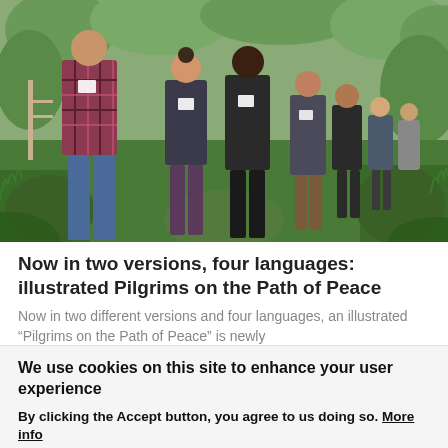[Figure (photo): A group of young people walking in a line along a narrow path through green vegetation and trees. The person in the foreground wears a plaid flannel shirt and jeans. Others behind wear dark clothing. They appear to be on a pilgrimage or group walk outdoors.]
Now in two versions, four languages: illustrated Pilgrims on the Path of Peace
Now in two different versions and four languages, an illustrated “Pilgrims on the Path of Peace” is newly available…
We use cookies on this site to enhance your user experience
By clicking the Accept button, you agree to us doing so. More info